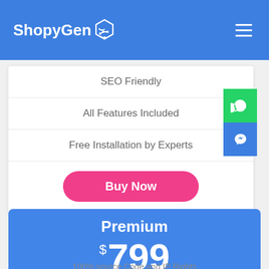ShopyGen
SEO Friendly
All Features Included
Free Installation by Experts
Buy Now
Premium
$799
100% source Code and IP Rights